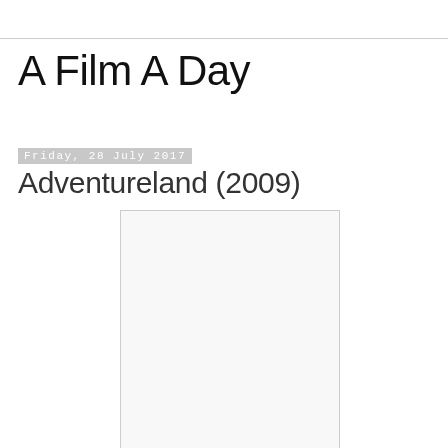A Film A Day
Friday, 28 July 2017
Adventureland (2009)
[Figure (photo): A mostly blank/white image placeholder for the Adventureland (2009) film poster]